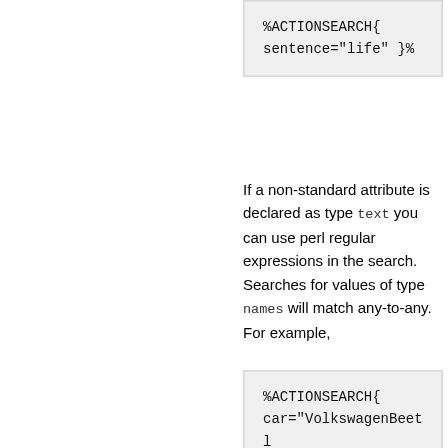[Figure (screenshot): Code block showing: %ACTIONSEARCH{ sentence="life" }%]
If a non-standard attribute is declared as type text you can use perl regular expressions in the search. Searches for values of type names will match any-to-any. For example,
[Figure (screenshot): Code block showing: %ACTIONSEARCH{ car="VolkswagenBeetle,MercedesCoupe" }%]
will match both of the following actions:
[Figure (screenshot): Code block showing: %ACTION{]